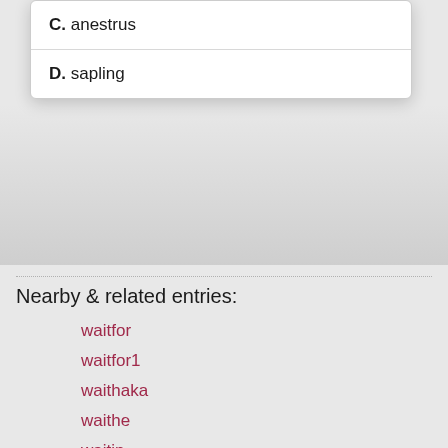C. anestrus
D. sapling
Nearby & related entries:
waitfor
waitfor1
waithaka
waithe
waitin
waiting area
waiting for godot
waiting for you
waiting game